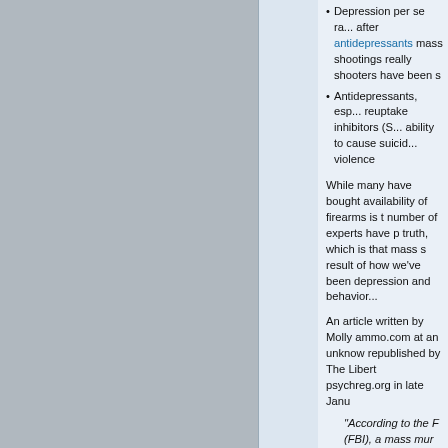[Figure (other): Gray rectangular area occupying left portion of page]
Depression per se ra... after antidepressants mass shootings really shooters have been s
Antidepressants, esp... reuptake inhibitors (S... ability to cause suicid... violence
While many have bought availability of firearms is t number of experts have p truth, which is that mass s result of how we've been depression and behavior...
An article written by Molly ammo.com at an unknow republished by The Libert psychreg.org in late Janu
“According to the F (FBI), a mass mur people are murder during a single inc Seemingly every ti the anti-gun media response — they b tool used, namely